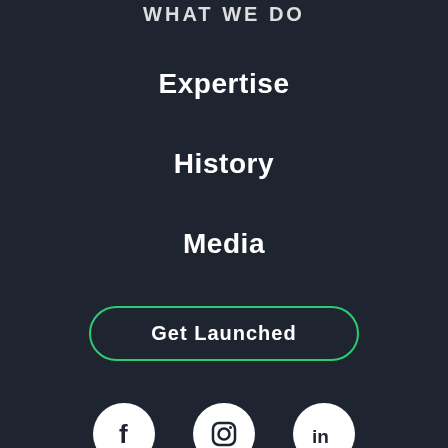WHAT WE DO
Expertise
History
Media
Get Launched
[Figure (illustration): Three social media icon buttons: Facebook (f), Instagram (camera icon), LinkedIn (in), each in a white circle on dark background]